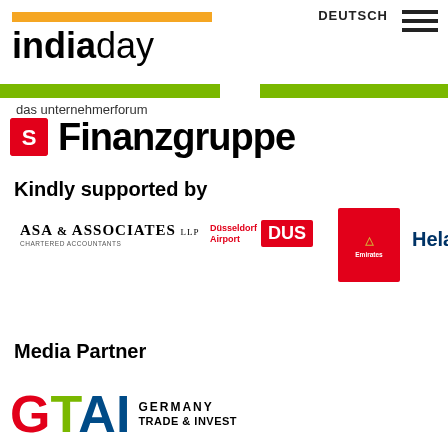[Figure (logo): India Day das unternehmerforum logo with orange bar, green bars, and text]
[Figure (logo): S Finanzgruppe logo with red S box and bold Finanzgruppe text]
Kindly supported by
[Figure (logo): ASA & Associates LLP Chartered Accountants logo]
[Figure (logo): Düsseldorf Airport DUS logo]
[Figure (logo): Emirates logo red box]
[Figure (logo): Helaba logo text]
Media Partner
[Figure (logo): GTAI Germany Trade & Invest logo]